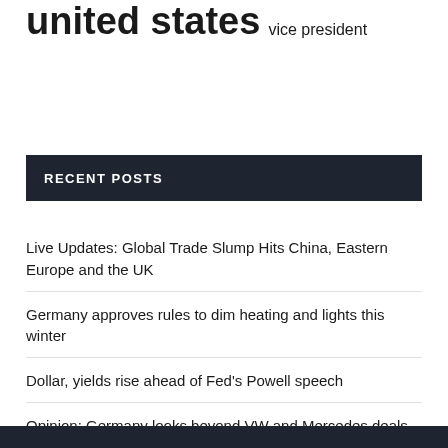united states  vice president
RECENT POSTS
Live Updates: Global Trade Slump Hits China, Eastern Europe and the UK
Germany approves rules to dim heating and lights this winter
Dollar, yields rise ahead of Fed's Powell speech
Opinion: Germany looks beyond VW and Mercedes deals to deepen Canadian partnerships
Analysis: As the war in Ukraine drags on, the European economy succumbs to the crisis